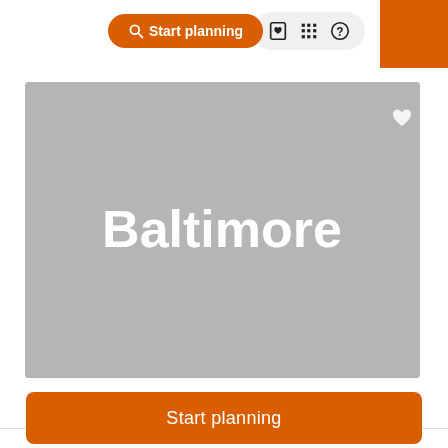Start planning
[Figure (screenshot): Gray placeholder image card for Baltimore city with white bold city name text centered, and a white heart icon in top-right corner of the card]
Best for: Casino, Aquarium, National Park
Start planning